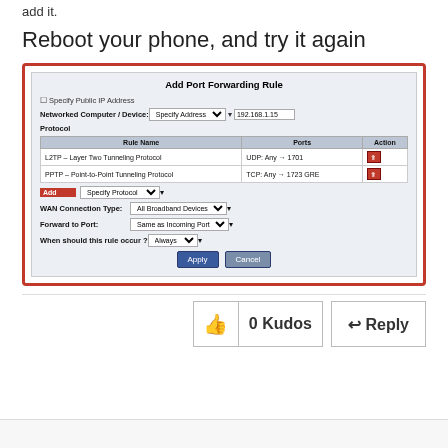add it.
Reboot your phone, and try it again
[Figure (screenshot): Screenshot of a router 'Add Port Forwarding Rule' dialog showing fields for Specify Public IP Address, Networked Computer/Device, Protocol, Rule Name table with L2TP and PPTP entries, Add field, WAN Connection Type, Forward to Port, and When should this rule occur, with Apply and Cancel buttons.]
0 Kudos
Reply